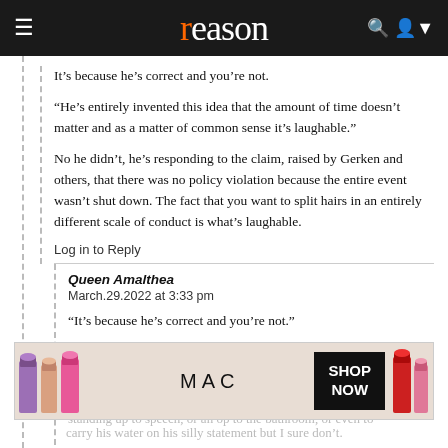reason
It’s because he’s correct and you’re not.

“He’s entirely invented this idea that the amount of time doesn’t matter and as a matter of common sense it’s laughable.”

No he didn’t, he’s responding to the claim, raised by Gerken and others, that there was no policy violation because the entire event wasn’t shut down. The fact that you want to split hairs in an entirely different scale of conduct is what’s laughable.
Log in to Reply
Queen Amalthea
March.29.2022 at 3:33 pm
“It’s because he’s correct and you’re not.”

No, he’s wrong, his test is laughable for the reasons I’ve given (taken as he states it it would mean disciplining someone for standing up to speech, or an op to the bathroom, or even to carry his water on his silly statement but I sure don’t.
[Figure (screenshot): MAC cosmetics advertisement showing lipsticks and SHOP NOW button]